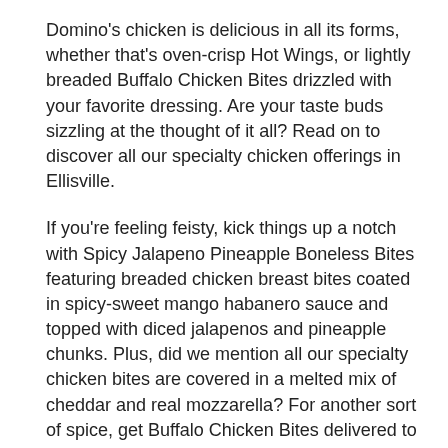Domino's chicken is delicious in all its forms, whether that's oven-crisp Hot Wings, or lightly breaded Buffalo Chicken Bites drizzled with your favorite dressing. Are your taste buds sizzling at the thought of it all? Read on to discover all our specialty chicken offerings in Ellisville.
If you're feeling feisty, kick things up a notch with Spicy Jalapeno Pineapple Boneless Bites featuring breaded chicken breast bites coated in spicy-sweet mango habanero sauce and topped with diced jalapenos and pineapple chunks. Plus, did we mention all our specialty chicken bites are covered in a melted mix of cheddar and real mozzarella? For another sort of spice, get Buffalo Chicken Bites delivered to your home. They are tender, zesty, and covered in cheese and ranch.
For something lower on the heat scale, consider our crisp and creamy Bacon & Tomato Bites. They're breaded to perfection, doused in garlic parmesan sauce, and sprinkled with diced tomato and crunchy bacon bits. Craving something slightly sweet and utterly satisfying? Amaze your taste buds with yummy breaded boneless bites, basted in sweet BBQ sauce and covered with melted cheese and crunchy bacon. YUM!